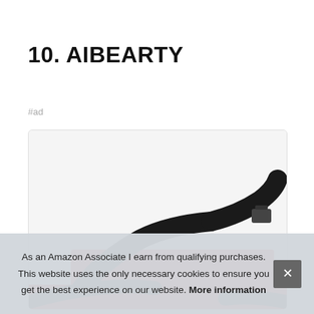10. AIBEARTY
#ad
[Figure (photo): Close-up product photo of a bag with black straps and a buckle, with red fabric visible at the bottom, shown inside a rounded-corner card/box.]
As an Amazon Associate I earn from qualifying purchases. This website uses the only necessary cookies to ensure you get the best experience on our website. More information